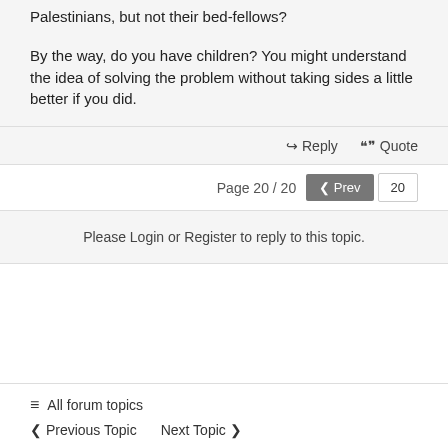Palestinians, but not their bed-fellows?
By the way, do you have children? You might understand the idea of solving the problem without taking sides a little better if you did.
↪ Reply  ❝ Quote
Page 20 / 20  ‹ Prev  20
Please Login or Register to reply to this topic.
≡ All forum topics
‹ Previous Topic   Next Topic ›